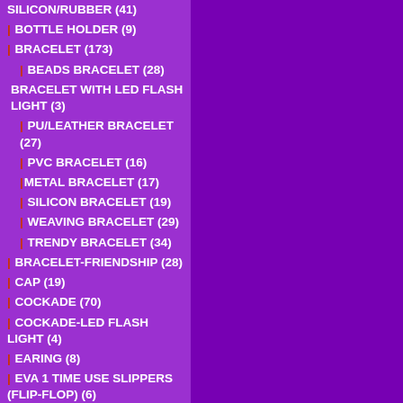SILICON/RUBBER (41)
| BOTTLE HOLDER (9)
| BRACELET (173)
| BEADS BRACELET (28)
BRACELET WITH LED FLASH LIGHT (3)
| PU/LEATHER BRACELET (27)
| PVC BRACELET (16)
|METAL BRACELET (17)
| SILICON BRACELET (19)
| WEAVING BRACELET (29)
| TRENDY BRACELET (34)
| BRACELET-FRIENDSHIP (28)
| CAP (19)
| COCKADE (70)
| COCKADE-LED FLASH LIGHT (4)
| EARING (8)
| EVA 1 TIME USE SLIPPERS (FLIP-FLOP) (6)
| EVA BEACH SLIPPERS